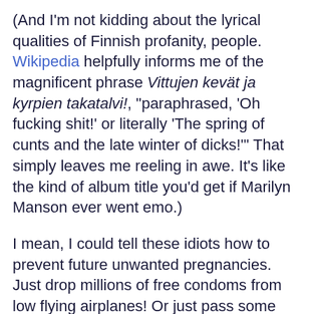(And I'm not kidding about the lyrical qualities of Finnish profanity, people. Wikipedia helpfully informs me of the magnificent phrase Vittujen kevät ja kyrpien takatalvi!, "paraphrased, 'Oh fucking shit!' or literally 'The spring of cunts and the late winter of dicks!'" That simply leaves me reeling in awe. It's like the kind of album title you'd get if Marilyn Manson ever went emo.)
I mean, I could tell these idiots how to prevent future unwanted pregnancies. Just drop millions of free condoms from low flying airplanes! Or just pass some kind of comprehensive sex education to inform all those poor redneck kids of yours that inserting Knob A in Hole B usually results in Lump C unless sensible precautions are taken. This suggestion perhaps unfairly assumes a measurable percentage of Oklahomans are sensible, but please, won't someone think of the children!? Anyway, there are any number of easily-implemented ways to prevent unwanted pregnancies if that's what they really wanted to do up there, so if you try to tell me you're taking down women's private information and posting it on the goddamn Internet, for chrissakes, in order to help these women, then you're just